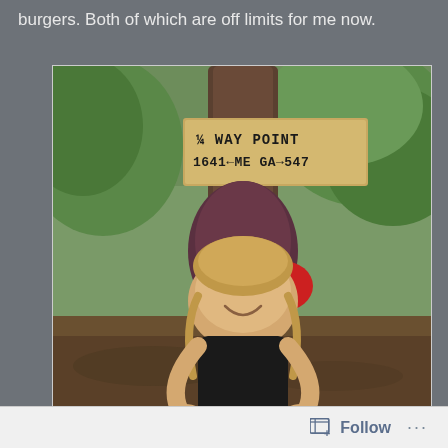burgers. Both of which are off limits for me now.
[Figure (photo): A smiling young woman with braids crouching under a trail sign on a tree that reads '1/4 WAY POINT 1641← ME GA→547', wearing a black shirt and carrying a large backpack with a red cloth, in a forest setting.]
Follow ...